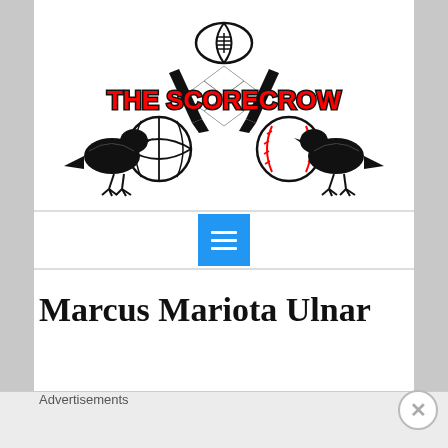[Figure (logo): The Scorecrow sports blog logo featuring two black crows, a football, basketball, baseball, hockey sticks, and bold red 'THE SCORECROW' text on a diamond checkered background]
[Figure (other): Blue navigation menu button with three horizontal white lines (hamburger icon)]
Marcus Mariota Ulnar
Advertisements